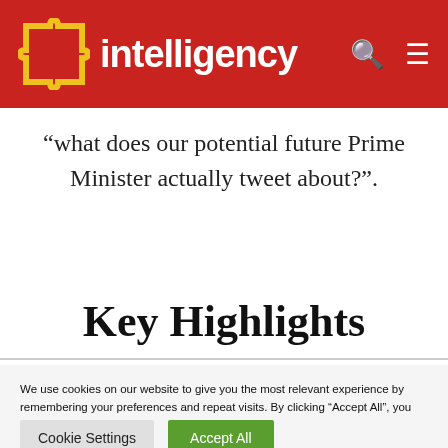intelligency
“what does our potential future Prime Minister actually tweet about?”.
Key Highlights
We use cookies on our website to give you the most relevant experience by remembering your preferences and repeat visits. By clicking “Accept All”, you consent to the use of ALL the cookies. However, you may visit "Cookie Settings" to provide a controlled consent.